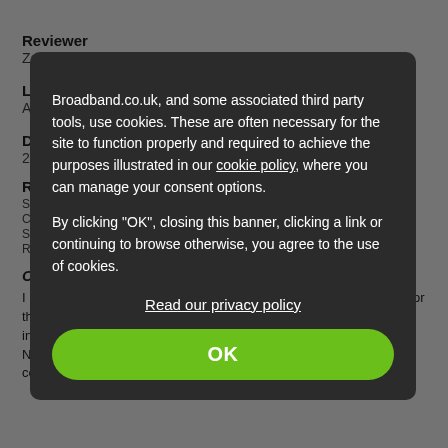Reviewer
Zara
Location
Axminster
Date
2017-...
Ratings
Sales... Customer support... Speed... Reliability...
Comments:
I have always had a problem with our accessible broadband speed for the area we live in. We have been... noticed our internet was getting increasingly slower and causing us frustration when trying to stream Netflix and Amazon etc. We put up with it for a while and eventually complained.
Broadband.co.uk, and some associated third party tools, use cookies. These are often necessary for the site to function properly and required to achieve the purposes illustrated in our cookie policy, where you can manage your consent options.

By clicking "OK", closing this banner, clicking a link or continuing to browse otherwise, you agree to the use of cookies.
Read our privacy policy
OK